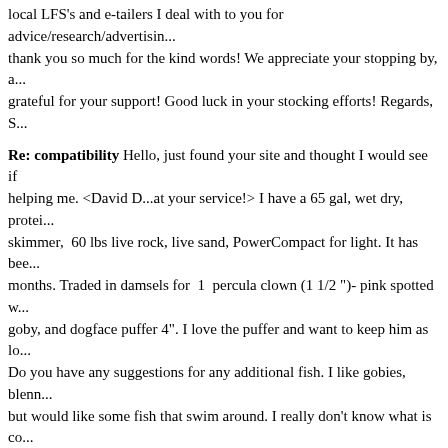local LFS's and e-tailers I deal with to you for advice/research/advertising... thank you so much for the kind words! We appreciate your stopping by, and are grateful for your support! Good luck in your stocking efforts! Regards, S
Re: compatibility Hello, just found your site and thought I would see if you could be helping me. <David D...at your service!> I have a 65 gal, wet dry, protein skimmer, 60 lbs live rock, live sand, PowerCompact for light. It has been up for months. Traded in damsels for 1 percula clown (1 1/2")- pink spotted watchman goby, and dogface puffer 4". I love the puffer and want to keep him as long as I can. Do you have any suggestions for any additional fish. I like gobies, blennies, etc. but would like some fish that swim around. I really don't know what is compatible with the puffer. Also what about crabs and such. <Inverts are on this guy's menu... puffer will eat all crustaceans including shrimp, crabs, etc. I would suggest fish that are about his size and are moderately aggressive. No fish that will fit in his mouth! You might consider a trigger. These fish have more personality than you can imagine. They're like dogs that live in water! Do a word search on wetwebmedia.com for suggestions and consider buying the Marine Fishes Pocket Book by Michael... it will help a lot!> Thanks, Jill <The pleasure was mine! David D.>
TANKMATES <Bring on The Fish!> Hello Crew @WWM, <Scott F. here!> Was hoping you could help me. I've set up a 200 gallon FOWLR tank (5 lbs of rock), and have it up for 2 months now. Am excited to finally start buying fish! <That's when the fun REALLY starts!> I have tried a marine tank 7-8 years ago, failed but decided I'm going to do it again, go slowly and do it right. <Wa!> My goal is to choose fish that are hardy and not overstock so as to decrease my chances of having problems. There are two specimens which are a must: emperor angel and clown trigger. This is my wish list and order of purchase, plea... let me know what to think. First in line: fish that allow, you see which...